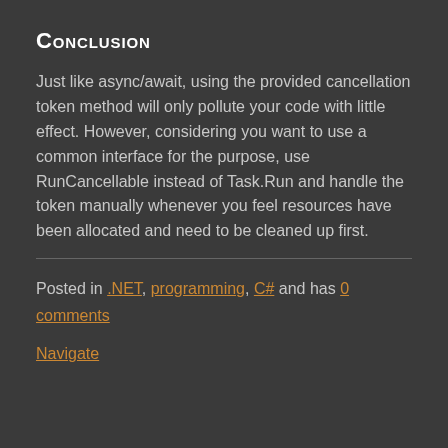Conclusion
Just like async/await, using the provided cancellation token method will only pollute your code with little effect. However, considering you want to use a common interface for the purpose, use RunCancellable instead of Task.Run and handle the token manually whenever you feel resources have been allocated and need to be cleaned up first.
Posted in .NET, programming, C# and has 0 comments
Navigate